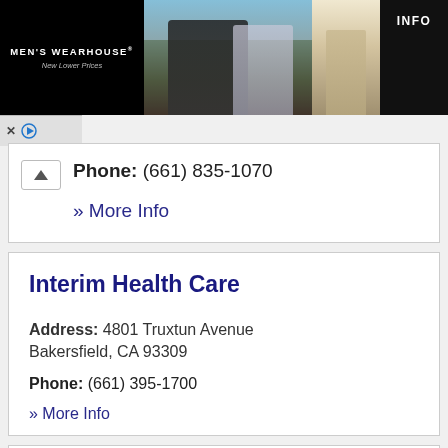[Figure (photo): Men's Wearhouse advertisement banner showing a couple in formal wear and a man in a tan suit, with INFO button on the right]
Phone: (661) 835-1070
» More Info
Interim Health Care
Address: 4801 Truxtun Avenue Bakersfield, CA 93309
Phone: (661) 395-1700
» More Info
James Banks - State Farm Insurance Agent